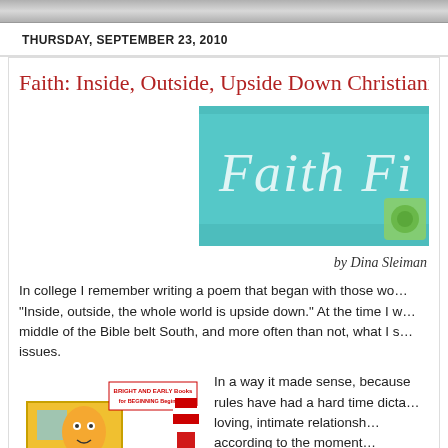THURSDAY, SEPTEMBER 23, 2010
Faith: Inside, Outside, Upside Down Christianity
[Figure (photo): Book cover image with teal background and white old-English style text reading 'Faith Fi...' with a small decorative element]
by Dina Sleiman
In college I remember writing a poem that began with those words, "Inside, outside, the whole world is upside down." At the time I was in the middle of the Bible belt South, and more often than not, what I saw raised issues.
[Figure (photo): Children's book – Bright and Early Books for Beginning Beginners, Seuss style, showing a character in a yellow box]
In a way it made sense, because rules have had a hard time dictating loving, intimate relationship according to the moment